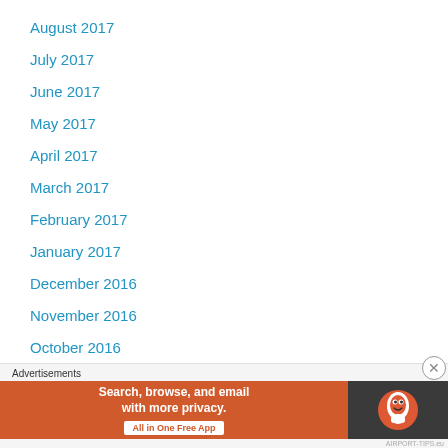August 2017
July 2017
June 2017
May 2017
April 2017
March 2017
February 2017
January 2017
December 2016
November 2016
October 2016
[Figure (infographic): DuckDuckGo advertisement banner: orange background with text 'Search, browse, and email with more privacy. All in One Free App' and DuckDuckGo logo on dark background]
Advertisements | AIRPORT-TIPS.eu